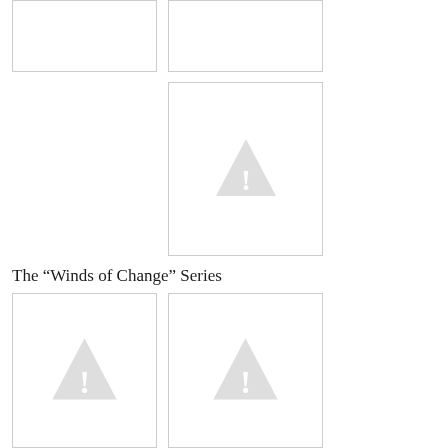[Figure (illustration): Image placeholder (top-left), white rectangle with light border]
[Figure (illustration): Image placeholder (top-right), white rectangle with light border]
[Figure (illustration): Image placeholder (center), tall white rectangle with light border and warning triangle icon]
The “Winds of Change” Series
[Figure (illustration): Image placeholder (bottom-left), white rectangle with light border and warning triangle icon]
[Figure (illustration): Image placeholder (bottom-right), white rectangle with light border and warning triangle icon]